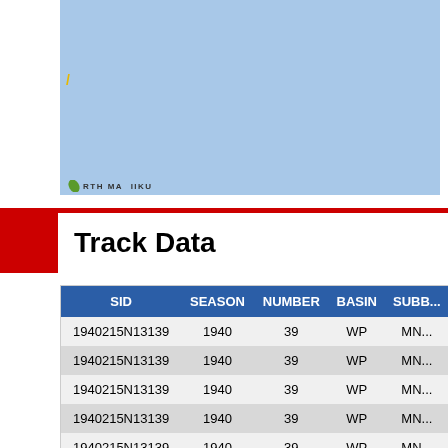[Figure (map): Partial map view with blue ocean/water background and a label reading 'RTH MAIHIKU' with a green leaf logo icon]
Track Data
| SID | SEASON | NUMBER | BASIN | SUBB... |
| --- | --- | --- | --- | --- |
| 1940215N13139 | 1940 | 39 | WP | MN... |
| 1940215N13139 | 1940 | 39 | WP | MN... |
| 1940215N13139 | 1940 | 39 | WP | MN... |
| 1940215N13139 | 1940 | 39 | WP | MN... |
| 1940215N13139 | 1940 | 39 | WP | MN... |
| 1940215N13139 | 1940 | 39 | WP | MN... |